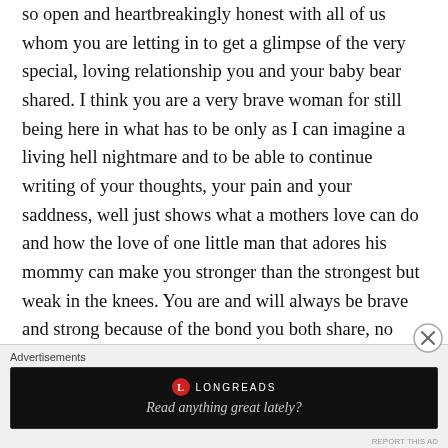so open and heartbreakingly honest with all of us whom you are letting in to get a glimpse of the very special, loving relationship you and your baby bear shared. I think you are a very brave woman for still being here in what has to be only as I can imagine a living hell nightmare and to be able to continue writing of your thoughts, your pain and your saddness, well just shows what a mothers love can do and how the love of one little man that adores his mommy can make you stronger than the strongest but weak in the knees. You are and will always be brave and strong because of the bond you both share, no matter where this “now” life takes you, whether it
Advertisements
[Figure (other): Longreads advertisement banner with black background showing red circular logo, 'LONGREADS' text in white uppercase letters, and italic tagline 'Read anything great lately?']